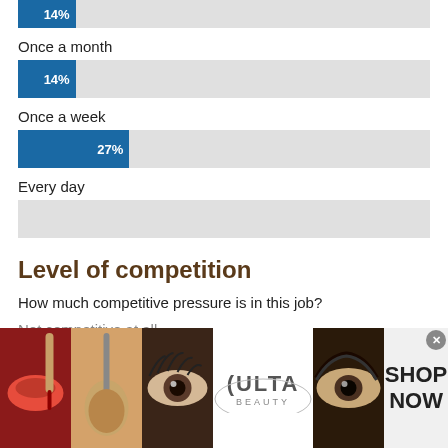[Figure (bar-chart): Frequency bars (partial)]
Level of competition
How much competitive pressure is in this job?
Not competitive at all
[Figure (photo): ULTA beauty advertisement banner at bottom of page showing makeup/cosmetic images]